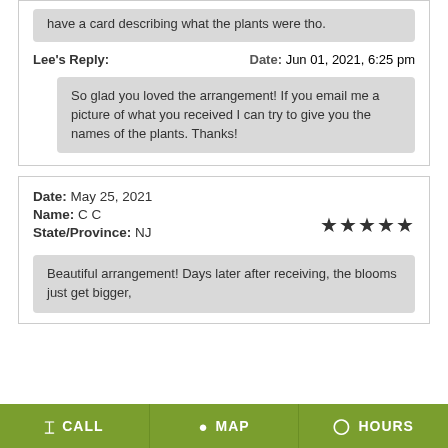have a card describing what the plants were tho.
Lee's Reply: Date: Jun 01, 2021, 6:25 pm
So glad you loved the arrangement! If you email me a picture of what you received I can try to give you the names of the plants. Thanks!
Date: May 25, 2021
Name: C C
State/Province: NJ
[Figure (other): 5 star rating shown as filled black stars]
Beautiful arrangement! Days later after receiving, the blooms just get bigger,
CALL  MAP  HOURS